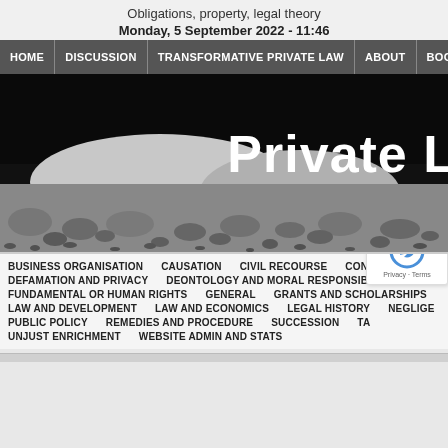Obligations, property, legal theory
Monday, 5 September 2022 - 11:46
[Figure (screenshot): Navigation bar with menu items: HOME, DISCUSSION, TRANSFORMATIVE PRIVATE LAW, ABOUT, BOOK (partially visible)]
[Figure (photo): Black and white landscape photo of a rocky lunar or desert surface with hills in background, large white bold text 'Private L' (partially visible) overlaid on right side]
BUSINESS ORGANISATION   CAUSATION   CIVIL RECOURSE   CONFERENCES SE[RIES] (partially visible)   DEFAMATION AND PRIVACY   DEONTOLOGY AND MORAL RESPONSIBILITY   DISCR[IMINATION] (partially visible)   FUNDAMENTAL OR HUMAN RIGHTS   GENERAL   GRANTS AND SCHOLARSHIPS   LAW AND DEVELOPMENT   LAW AND ECONOMICS   LEGAL HISTORY   NEGLIGEN[CE] (partially visible)   PUBLIC POLICY   REMEDIES AND PROCEDURE   SUCCESSION   TA[X] (partially visible)   UNJUST ENRICHMENT   WEBSITE ADMIN AND STATS